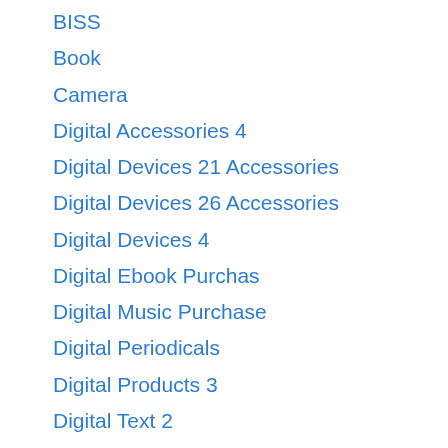BISS
Book
Camera
Digital Accessories 4
Digital Devices 21 Accessories
Digital Devices 26 Accessories
Digital Devices 4
Digital Ebook Purchas
Digital Music Purchase
Digital Periodicals
Digital Products 3
Digital Text 2
Digital Video Games